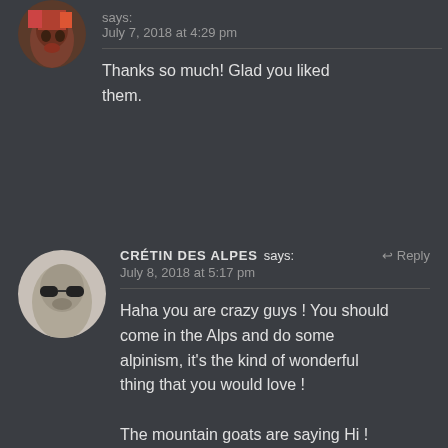[Figure (photo): Circular avatar of a person with face paint, partially cut off at top]
says:
July 7, 2018 at 4:29 pm
Thanks so much! Glad you liked them.
[Figure (photo): Circular avatar of a person wearing dark sunglasses]
CRÉTIN DES ALPES says:
July 8, 2018 at 5:17 pm
Haha you are crazy guys ! You should come in the Alps and do some alpinism, it's the kind of wonderful thing that you would love !

The mountain goats are saying Hi !